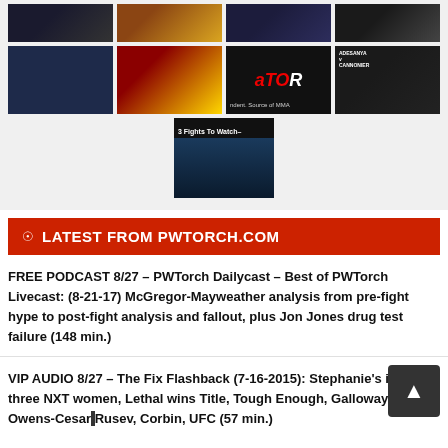[Figure (photo): Grid of MMA/UFC promotional images arranged in two rows of four plus one centered image below]
LATEST FROM PWTORCH.COM
FREE PODCAST 8/27 – PWTorch Dailycast – Best of PWTorch Livecast: (8-21-17) McGregor-Mayweather analysis from pre-fight hype to post-fight analysis and fallout, plus Jon Jones drug test failure (148 min.)
VIP AUDIO 8/27 – The Fix Flashback (7-16-2015): Stephanie's intro of three NXT women, Lethal wins Title, Tough Enough, Galloway, Cena-Owens-Cesaro, Rusev, Corbin, UFC (57 min.)